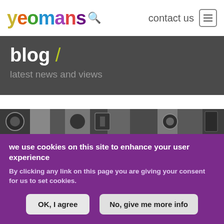yeomans  contact us
blog /
latest news and views
[Figure (photo): Black and white photo strip showing typographic/printing machinery details]
we use cookies on this site to enhance your user experience
By clicking any link on this page you are giving your consent for us to set cookies.
OK, I agree    No, give me more info